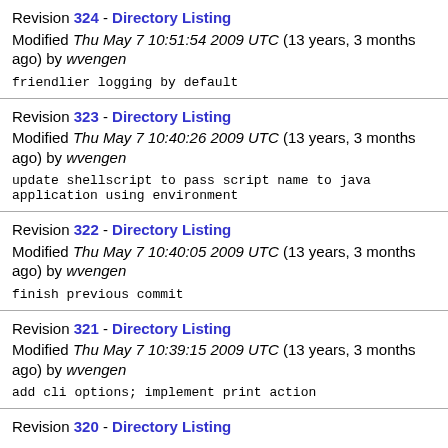Revision 324 - Directory Listing
Modified Thu May 7 10:51:54 2009 UTC (13 years, 3 months ago) by wvengen
friendlier logging by default
Revision 323 - Directory Listing
Modified Thu May 7 10:40:26 2009 UTC (13 years, 3 months ago) by wvengen
update shellscript to pass script name to java application using environment
Revision 322 - Directory Listing
Modified Thu May 7 10:40:05 2009 UTC (13 years, 3 months ago) by wvengen
finish previous commit
Revision 321 - Directory Listing
Modified Thu May 7 10:39:15 2009 UTC (13 years, 3 months ago) by wvengen
add cli options; implement print action
Revision 320 - Directory Listing